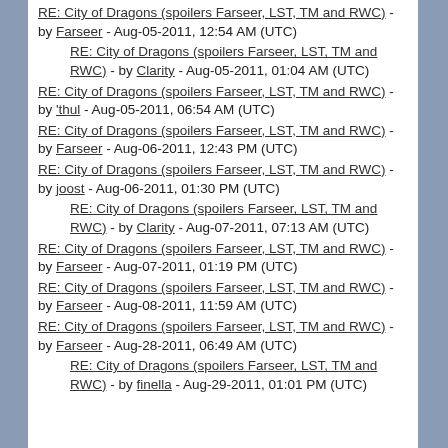RE: City of Dragons (spoilers Farseer, LST, TM and RWC) - by Farseer - Aug-05-2011, 12:54 AM (UTC)
RE: City of Dragons (spoilers Farseer, LST, TM and RWC) - by Clarity - Aug-05-2011, 01:04 AM (UTC)
RE: City of Dragons (spoilers Farseer, LST, TM and RWC) - by 'thul - Aug-05-2011, 06:54 AM (UTC)
RE: City of Dragons (spoilers Farseer, LST, TM and RWC) - by Farseer - Aug-06-2011, 12:43 PM (UTC)
RE: City of Dragons (spoilers Farseer, LST, TM and RWC) - by joost - Aug-06-2011, 01:30 PM (UTC)
RE: City of Dragons (spoilers Farseer, LST, TM and RWC) - by Clarity - Aug-07-2011, 07:13 AM (UTC)
RE: City of Dragons (spoilers Farseer, LST, TM and RWC) - by Farseer - Aug-07-2011, 01:19 PM (UTC)
RE: City of Dragons (spoilers Farseer, LST, TM and RWC) - by Farseer - Aug-08-2011, 11:59 AM (UTC)
RE: City of Dragons (spoilers Farseer, LST, TM and RWC) - by Farseer - Aug-28-2011, 06:49 AM (UTC)
RE: City of Dragons (spoilers Farseer, LST, TM and RWC) - by finella - Aug-29-2011, 01:01 PM (UTC)